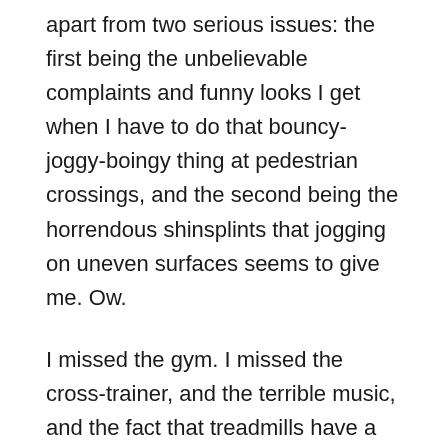apart from two serious issues: the first being the unbelievable complaints and funny looks I get when I have to do that bouncy-joggy-boingy thing at pedestrian crossings, and the second being the horrendous shinsplints that jogging on uneven surfaces seems to give me. Ow.
I missed the gym. I missed the cross-trainer, and the terrible music, and the fact that treadmills have a nice lectern you can put your things on so you don't have to shove your keys inside your bra. And I realised that, as someone who is likely to be unemployed for a considerably long time, I would